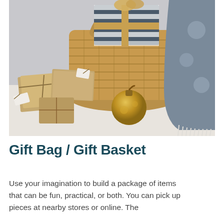[Figure (photo): A woven basket filled with wrapped gifts including a striped box with gold ribbon, brown kraft paper wrapped packages with white gift tags, a gold ornament ball, and a blue/grey patterned throw blanket with fringe spilling out the side.]
Gift Bag / Gift Basket
Use your imagination to build a package of items that can be fun, practical, or both. You can pick up pieces at nearby stores or online. The